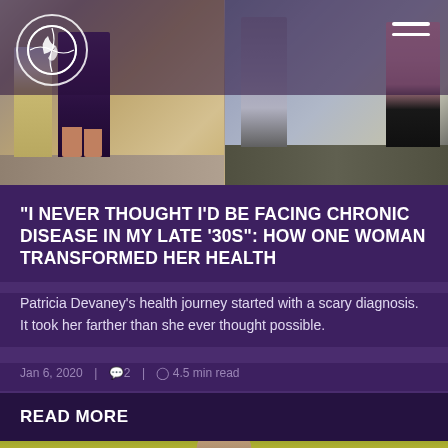[Figure (photo): Header with two side-by-side outdoor photos showing couples standing together; left photo shows two people by a rocky river, right photo shows two people in a grassy field]
“I NEVER THOUGHT I’D BE FACING CHRONIC DISEASE IN MY LATE ’30S”: HOW ONE WOMAN TRANSFORMED HER HEALTH
Patricia Devaney’s health journey started with a scary diagnosis. It took her farther than she ever thought possible.
Jan 6, 2020 | 💬2 | ⏰ 4.5 min read
READ MORE
[Figure (photo): Bottom portion of woman's face photographed outdoors with yellow flowers in background]